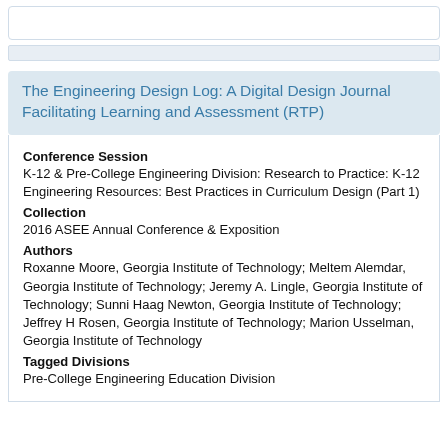The Engineering Design Log: A Digital Design Journal Facilitating Learning and Assessment (RTP)
Conference Session
K-12 & Pre-College Engineering Division: Research to Practice: K-12 Engineering Resources: Best Practices in Curriculum Design (Part 1)
Collection
2016 ASEE Annual Conference & Exposition
Authors
Roxanne Moore, Georgia Institute of Technology; Meltem Alemdar, Georgia Institute of Technology; Jeremy A. Lingle, Georgia Institute of Technology; Sunni Haag Newton, Georgia Institute of Technology; Jeffrey H Rosen, Georgia Institute of Technology; Marion Usselman, Georgia Institute of Technology
Tagged Divisions
Pre-College Engineering Education Division